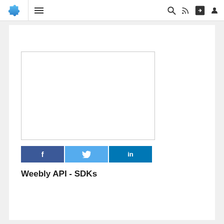[Figure (screenshot): Website navigation bar with puzzle piece logo, hamburger menu, search, RSS, share, and user icons]
[Figure (other): Advertisement placeholder box with border]
[Figure (other): Social share buttons: Facebook (f), Twitter (bird), LinkedIn (in)]
Weebly API - SDKs